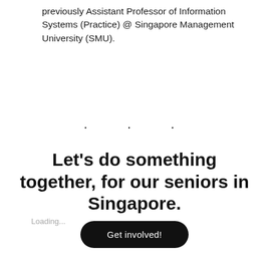previously Assistant Professor of Information Systems (Practice) @ Singapore Management University (SMU).
. . .
Let's do something together, for our seniors in Singapore.
Get involved!
Loading...